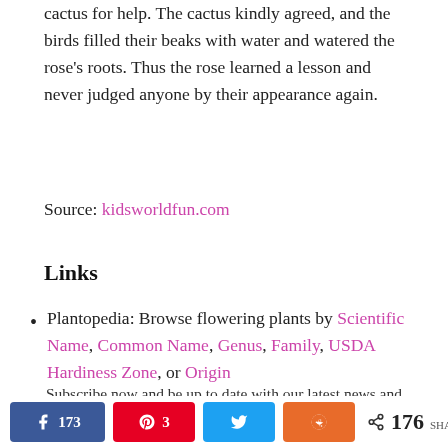cactus for help. The cactus kindly agreed, and the birds filled their beaks with water and watered the rose's roots. Thus the rose learned a lesson and never judged anyone by their appearance again.
Source: kidsworldfun.com
Links
Plantopedia: Browse flowering plants by Scientific Name, Common Name, Genus, Family, USDA Hardiness Zone, or Origin
Subscribe now and be up to date with our latest news and updates
173 (Facebook shares) | 3 (Pinterest) | Twitter | Reddit | 176 SHARES